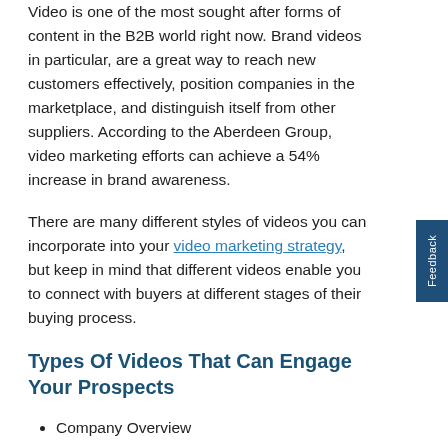Video is one of the most sought after forms of content in the B2B world right now. Brand videos in particular, are a great way to reach new customers effectively, position companies in the marketplace, and distinguish itself from other suppliers. According to the Aberdeen Group, video marketing efforts can achieve a 54% increase in brand awareness.
There are many different styles of videos you can incorporate into your video marketing strategy, but keep in mind that different videos enable you to connect with buyers at different stages of their buying process.
Types Of Videos That Can Engage Your Prospects
Company Overview
Customer service
Facility tours